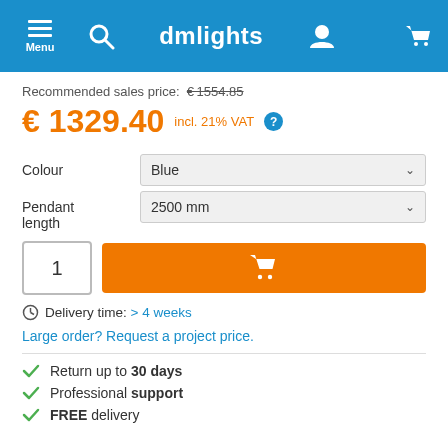Menu | dmlights
Recommended sales price: €1554.85
€ 1329.40 incl. 21% VAT
Colour: Blue
Pendant length: 2500 mm
1 [Add to cart]
Delivery time: > 4 weeks
Large order? Request a project price.
Return up to 30 days
Professional support
FREE delivery